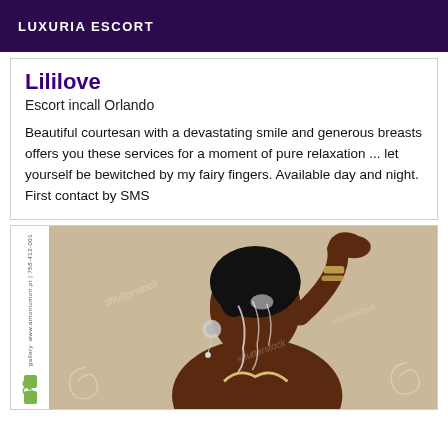LUXURIA ESCORT
Lililove
Escort incall Orlando
Beautiful courtesan with a devastating smile and generous breasts offers you these services for a moment of pure relaxation ... let yourself be bewitched by my fairy fingers. Available day and night. First contact by SMS
[Figure (photo): Photo of a woman with dark skin and black hair, wearing jewelry and a light-colored top, posing with her hand raised near her face against a beige/tan background. Stock photo watermarks visible.]